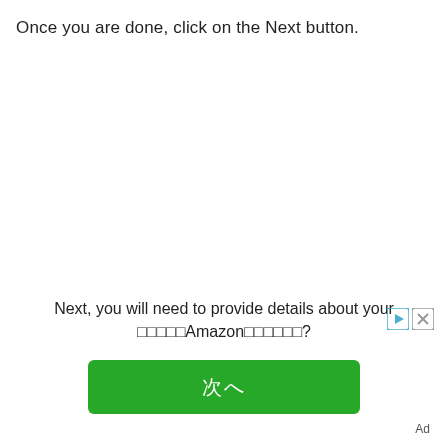Once you are done, click on the Next button.
Next, you will need to provide details about your
□□□□□Amazon□□□□□□?
[Figure (other): Green Next button with Japanese/CJK characters, ad controls (play and close icons)]
Ad